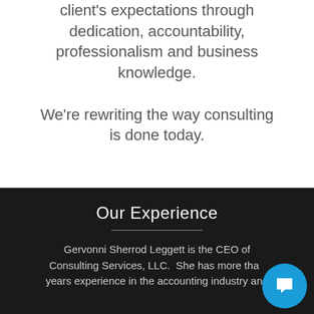client's expectations through dedication, accountability, professionalism and business knowledge.
We're rewriting the way consulting is done today.
Our Experience
Gervonni Sherrod Leggett is the CEO of Consulting Services, LLC.  She has more than years experience in the accounting industry and